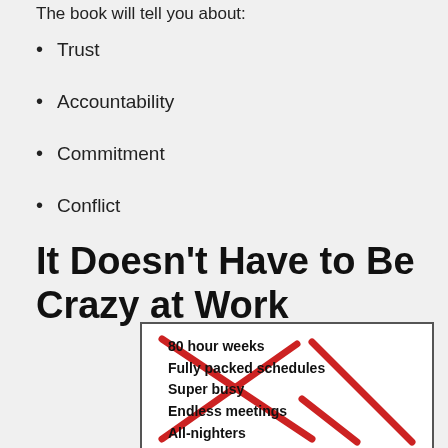The book will tell you about:
Trust
Accountability
Commitment
Conflict
It Doesn't Have to Be Crazy at Work
[Figure (illustration): A white box with bold black text listing: 80 hour weeks, Fully packed schedules, Super busy, Endless meetings, All-nighters — with two large red X/check marks crossed over the text]